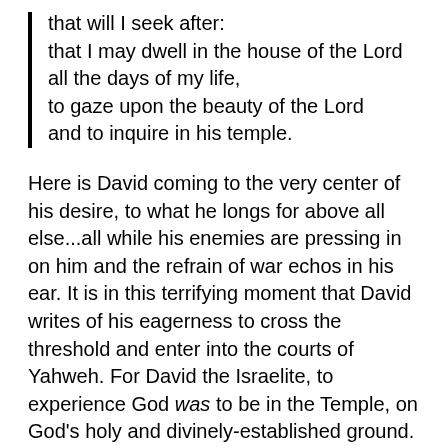that will I seek after:
that I may dwell in the house of the Lord
all the days of my life,
to gaze upon the beauty of the Lord
and to inquire in his temple.
Here is David coming to the very center of his desire, to what he longs for above all else...all while his enemies are pressing in on him and the refrain of war echos in his ear. It is in this terrifying moment that David writes of his eagerness to cross the threshold and enter into the courts of Yahweh. For David the Israelite, to experience God was to be in the Temple, on God's holy and divinely-established ground.
But glancing back at Ps. 27:4 (above), we might